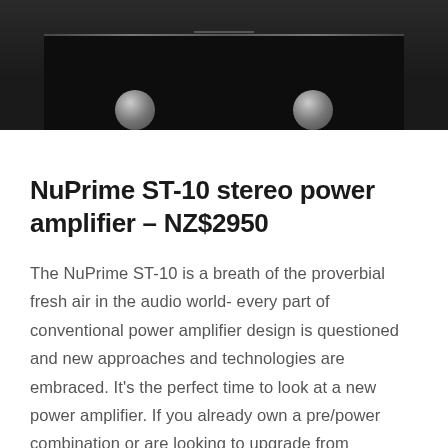[Figure (photo): Front view of a NuPrime ST-10 stereo power amplifier, black chassis with two silver/chrome feet visible at the bottom, photographed from slightly above against a dark background.]
NuPrime ST-10 stereo power amplifier – NZ$2950
The NuPrime ST-10 is a breath of the proverbial fresh air in the audio world- every part of conventional power amplifier design is questioned and new approaches and technologies are embraced. It's the perfect time to look at a new power amplifier. If you already own a pre/power combination or are looking to upgrade from integrated the ST-10 sounds so much better than any other power amplifier at this price.